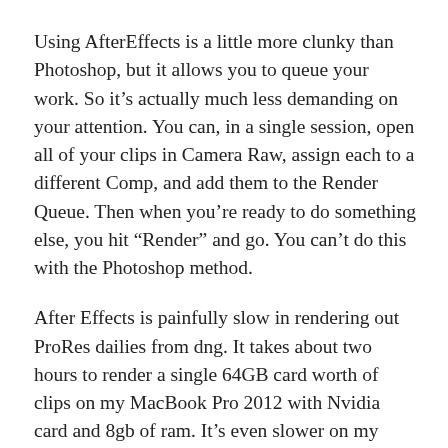Using AfterEffects is a little more clunky than Photoshop, but it allows you to queue your work. So it’s actually much less demanding on your attention. You can, in a single session, open all of your clips in Camera Raw, assign each to a different Comp, and add them to the Render Queue. Then when you’re ready to do something else, you hit “Render” and go. You can’t do this with the Photoshop method.
After Effects is painfully slow in rendering out ProRes dailies from dng. It takes about two hours to render a single 64GB card worth of clips on my MacBook Pro 2012 with Nvidia card and 8gb of ram. It’s even slower on my iMac 2011. And tinkering with the preferences and enabling multiprocessor support in AE seems to have no impact. Instead, I have a low tech solution to render speed: Use more than one computer. Yep. A raw workflow will easily keep more than one machine busy. The good news is a subscription to Adobe allows two computers to use the same software license, which I was